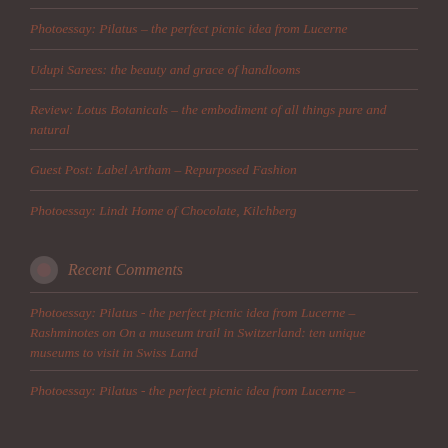Photoessay: Pilatus – the perfect picnic idea from Lucerne
Udupi Sarees: the beauty and grace of handlooms
Review: Lotus Botanicals – the embodiment of all things pure and natural
Guest Post: Label Artham – Repurposed Fashion
Photoessay: Lindt Home of Chocolate, Kilchberg
Recent Comments
Photoessay: Pilatus - the perfect picnic idea from Lucerne – Rashminotes on On a museum trail in Switzerland: ten unique museums to visit in Swiss Land
Photoessay: Pilatus - the perfect picnic idea from Lucerne –